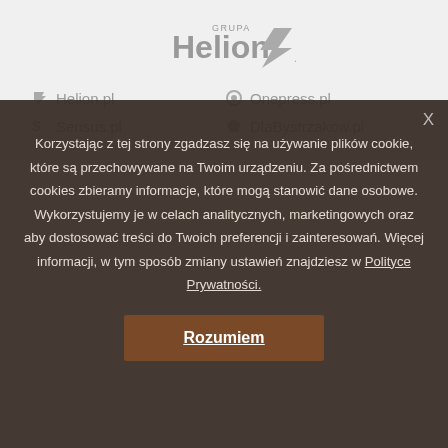[Figure (logo): Grupa Helion logo with stylized checkmark/arrow]
Helion.pl
Onepress.pl
Sensus.pl
DlaBystrzakow.pl
Korzystając z tej strony zgadzasz się na używanie plików cookie, które są przechowywane na Twoim urządzeniu. Za pośrednictwem cookies zbieramy informacje, które mogą stanowić dane osobowe. Wykorzystujemy je w celach analitycznych, marketingowych oraz aby dostosować treści do Twoich preferencji i zainteresowań. Więcej informacji, w tym sposób zmiany ustawień znajdziesz w Polityce Prywatności.
Rozumiem